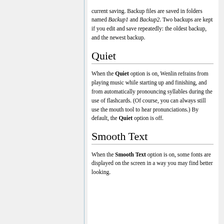current saving. Backup files are saved in folders named Backup1 and Backup2. Two backups are kept if you edit and save repeatedly: the oldest backup, and the newest backup.
Quiet
When the Quiet option is on, Wenlin refrains from playing music while starting up and finishing, and from automatically pronouncing syllables during the use of flashcards. (Of course, you can always still use the mouth tool to hear pronunciations.) By default, the Quiet option is off.
Smooth Text
When the Smooth Text option is on, some fonts are displayed on the screen in a way you may find better looking.